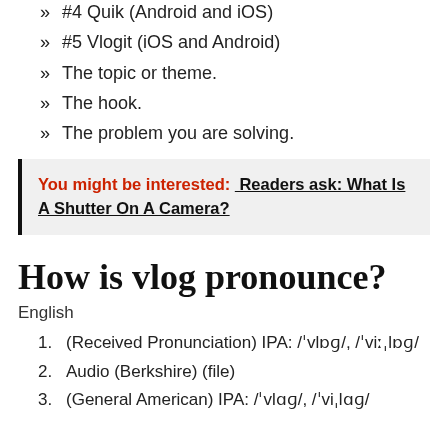#4 Quik (Android and iOS)
#5 Vlogit (iOS and Android)
The topic or theme.
The hook.
The problem you are solving.
You might be interested: Readers ask: What Is A Shutter On A Camera?
How is vlog pronounce?
English
1. (Received Pronunciation) IPA: /ˈvlɒɡ/, /ˈviːˌlɒɡ/
2. Audio (Berkshire) (file)
3. (General American) IPA: /ˈvlɑɡ/, /ˈviˌlɑɡ/